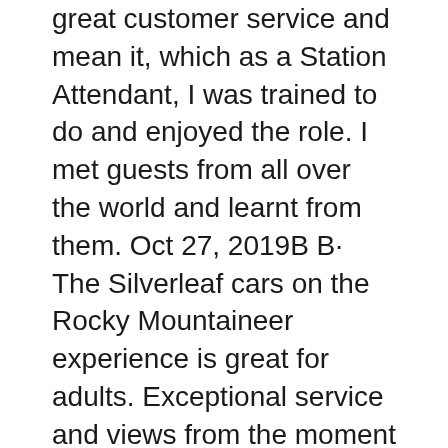great customer service and mean it, which as a Station Attendant, I was trained to do and enjoyed the role. I met guests from all over the world and learnt from them. Oct 27, 2019В В· The Silverleaf cars on the Rocky Mountaineer experience is great for adults. Exceptional service and views from the moment I arrived at the station in Vancouver. I rode the train to Kamloops stayed overnight then on to Jasper. A great way to relax. More
Jun 25, 2015В В· вЂњThe Gold Leaf service is the most luxurious and many people ask me if it is worth the added cost. Without a shadow of a doubt, the answer is YES! If you are considering a trip on the Rocky Mountaineer, it is likely to be something you will do only once in your life. So do